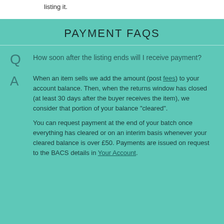listing it.
PAYMENT FAQS
Q: How soon after the listing ends will I receive payment?
A: When an item sells we add the amount (post fees) to your account balance. Then, when the returns window has closed (at least 30 days after the buyer receives the item), we consider that portion of your balance "cleared". You can request payment at the end of your batch once everything has cleared or on an interim basis whenever your cleared balance is over £50. Payments are issued on request to the BACS details in Your Account.